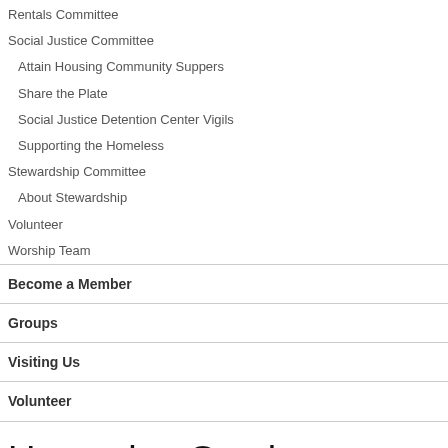Rentals Committee
Social Justice Committee
Attain Housing Community Suppers
Share the Plate
Social Justice Detention Center Vigils
Supporting the Homeless
Stewardship Committee
About Stewardship
Volunteer
Worship Team
Become a Member
Groups
Visiting Us
Volunteer
Upcoming Services
Lessons Learned
Sunday, August 28, 2022 10:30am
Each year Unitarian Universalists from across the world gather at our General Assembly where we learn from each other and make